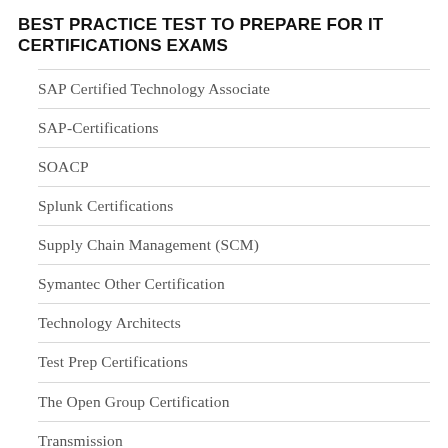BEST PRACTICE TEST TO PREPARE FOR IT CERTIFICATIONS EXAMS
SAP Certified Technology Associate
SAP-Certifications
SOACP
Splunk Certifications
Supply Chain Management (SCM)
Symantec Other Certification
Technology Architects
Test Prep Certifications
The Open Group Certification
Transmission